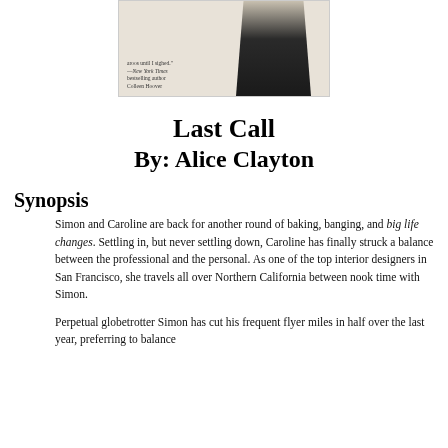[Figure (photo): Partial book cover for 'Last Call' by Alice Clayton showing a woman in dark clothing against a cream background with a quote from Colleen Hoover]
Last Call
By: Alice Clayton
Synopsis
Simon and Caroline are back for another round of baking, banging, and big life changes. Settling in, but never settling down, Caroline has finally struck a balance between the professional and the personal. As one of the top interior designers in San Francisco, she travels all over Northern California between nook time with Simon.
Perpetual globetrotter Simon has cut his frequent flyer miles in half over the last year, preferring to balance